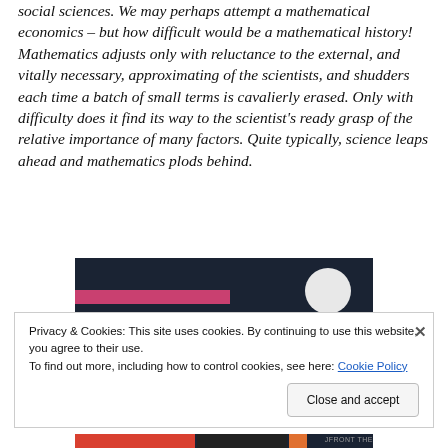social sciences. We may perhaps attempt a mathematical economics – but how difficult would be a mathematical history! Mathematics adjusts only with reluctance to the external, and vitally necessary, approximating of the scientists, and shudders each time a batch of small terms is cavalierly erased. Only with difficulty does it find its way to the scientist's ready grasp of the relative importance of many factors. Quite typically, science leaps ahead and mathematics plods behind.
[Figure (screenshot): Dark navy background screenshot with a pink horizontal bar on the left and a light grey circle on the right]
Privacy & Cookies: This site uses cookies. By continuing to use this website, you agree to their use.
To find out more, including how to control cookies, see here: Cookie Policy
Close and accept